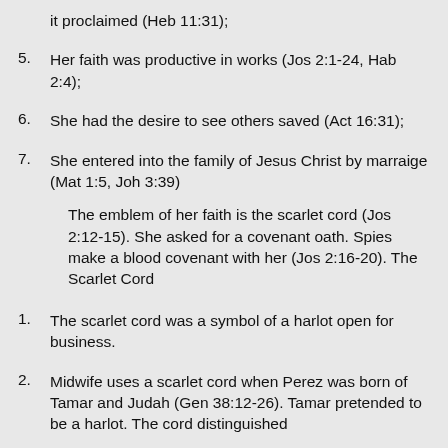it proclaimed (Heb 11:31);
5. Her faith was productive in works (Jos 2:1-24, Hab 2:4);
6. She had the desire to see others saved (Act 16:31);
7. She entered into the family of Jesus Christ by marraige (Mat 1:5, Joh 3:39)
The emblem of her faith is the scarlet cord (Jos 2:12-15). She asked for a covenant oath. Spies make a blood covenant with her (Jos 2:16-20). The Scarlet Cord
1. The scarlet cord was a symbol of a harlot open for business.
2. Midwife uses a scarlet cord when Perez was born of Tamar and Judah (Gen 38:12-26). Tamar pretended to be a harlot. The cord distinguished